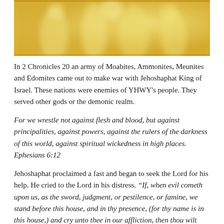[Figure (illustration): A blurry golden/yellow toned image, appearing to show robed figures or angelic forms in warm yellow and gold hues.]
In 2 Chronicles 20 an army of Moabites, Ammonites, Meunites and Edomites came out to make war with Jehoshaphat King of Israel. These nations were enemies of YHWY's people. They served other gods or the demonic realm.
For we wrestle not against flesh and blood, but against principalities, against powers, against the rulers of the darkness of this world, against spiritual wickedness in high places. Ephesians 6:12
Jehoshaphat proclaimed a fast and began to seek the Lord for his help. He cried to the Lord in his distress. “If, when evil cometh upon us, as the sword, judgment, or pestilence, or famine, we stand before this house, and in thy presence, (for thy name is in this house,) and cry unto thee in our affliction, then thou wilt hear and help.” 2 Chronicles 20:9